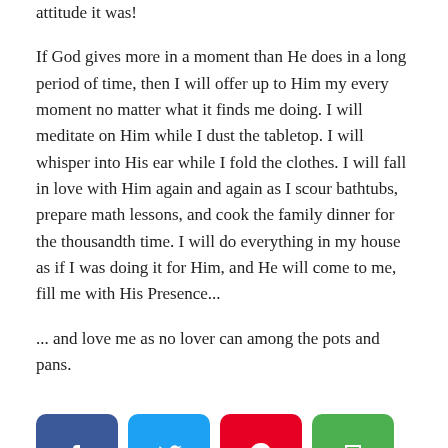attitude it was!
If God gives more in a moment than He does in a long period of time, then I will offer up to Him my every moment no matter what it finds me doing. I will meditate on Him while I dust the tabletop. I will whisper into His ear while I fold the clothes. I will fall in love with Him again and again as I scour bathtubs, prepare math lessons, and cook the family dinner for the thousandth time. I will do everything in my house as if I was doing it for Him, and He will come to me, fill me with His Presence...
... and love me as no lover can among the pots and pans.
[Figure (infographic): Social sharing buttons: Facebook (blue), Twitter (light blue), Pinterest (red), Print (green)]